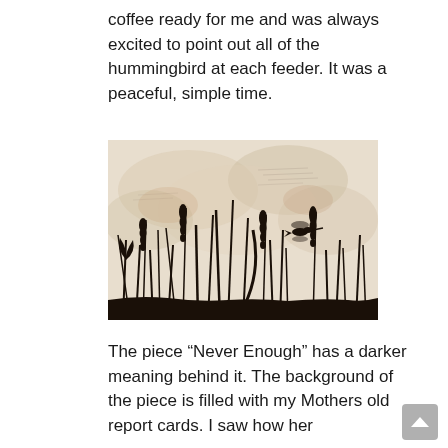coffee ready for me and was always excited to point out all of the hummingbird at each feeder. It was a peaceful, simple time.
[Figure (illustration): A painting showing dark silhouettes of tall grasses, reeds, and flowering plants along the bottom foreground, with a hummingbird in flight visible against a light, textured beige/cream background with abstract patterns suggesting clouds or foliage.]
The piece “Never Enough” has a darker meaning behind it. The background of the piece is filled with my Mothers old report cards. I saw how her